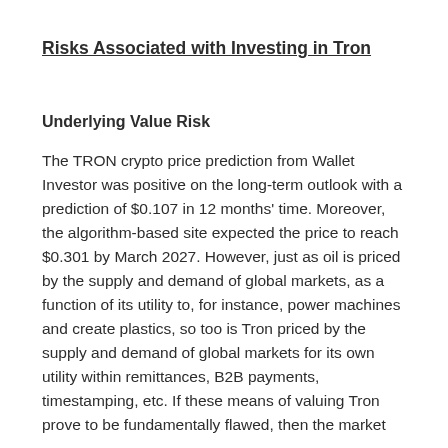Risks Associated with Investing in Tron
Underlying Value Risk
The TRON crypto price prediction from Wallet Investor was positive on the long-term outlook with a prediction of $0.107 in 12 months' time. Moreover, the algorithm-based site expected the price to reach $0.301 by March 2027. However, just as oil is priced by the supply and demand of global markets, as a function of its utility to, for instance, power machines and create plastics, so too is Tron priced by the supply and demand of global markets for its own utility within remittances, B2B payments, timestamping, etc. If these means of valuing Tron prove to be fundamentally flawed, then the market